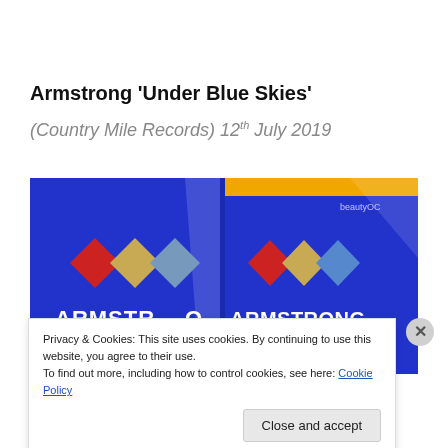Armstrong ‘Under Blue Skies’
(Country Mile Records) 12th July 2019
[Figure (photo): Album cover photo showing two Armstrong 'Under Blue Skies' record sleeves with blue background and colored diamond logos (red, gold, blue). Text 'ARMSTRONG' and 'UNDER BLUE SKIES' visible in white and yellow lettering.]
Privacy & Cookies: This site uses cookies. By continuing to use this website, you agree to their use.
To find out more, including how to control cookies, see here: Cookie Policy
Close and accept